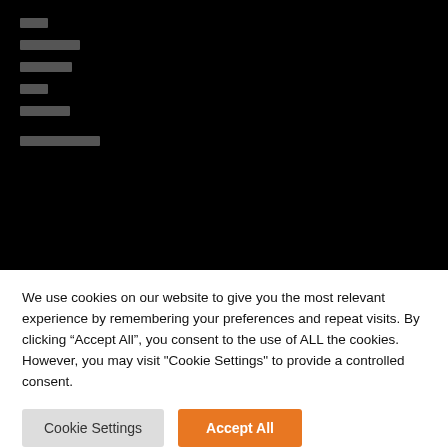[Figure (screenshot): Black navigation menu area with obscured/redacted menu items shown as gray rectangles on black background]
We use cookies on our website to give you the most relevant experience by remembering your preferences and repeat visits. By clicking “Accept All”, you consent to the use of ALL the cookies. However, you may visit "Cookie Settings" to provide a controlled consent.
Cookie Settings
Accept All